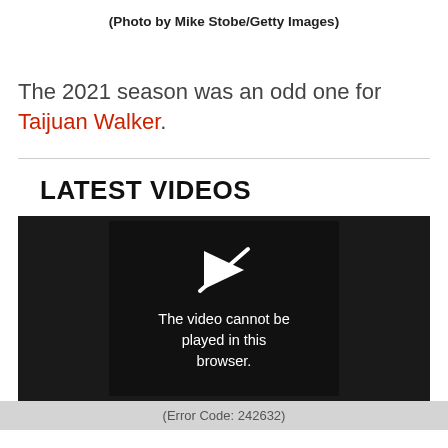(Photo by Mike Stobe/Getty Images)
The 2021 season was an odd one for Taijuan Walker.
LATEST VIDEOS
[Figure (screenshot): Video player showing error: 'The video cannot be played in this browser.' with a play icon crossed out. Below the player: (Error Code: 242632)]